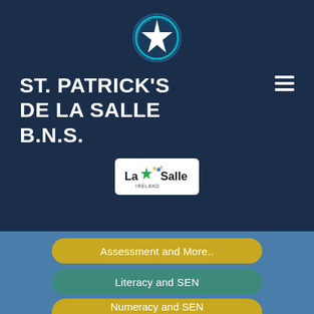[Figure (logo): St. Patrick's De La Salle B.N.S. circular school crest logo with star on dark navy background]
ST. PATRICK'S DE LA SALLE B.N.S.
[Figure (logo): La Salle Ireland logo with green star and colored dots on white background]
Assessment and More..
Literacy and SEN
Numeracy and SEN